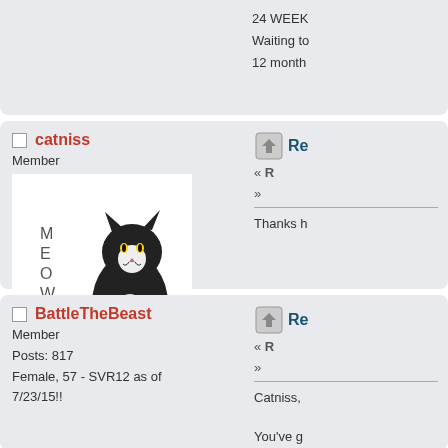24 WEEK
Waiting to
12 month
catniss
Member
Posts: 50
[Figure (photo): Cat avatar image with text MEOW on the left side, black and white cat sitting]
Re
« R
»
Thanks h
BattleTheBeast
Member
Posts: 817
Female, 57 - SVR12 as of 7/23/15!!
Re
« R
»
Catniss,
You've g
Mel